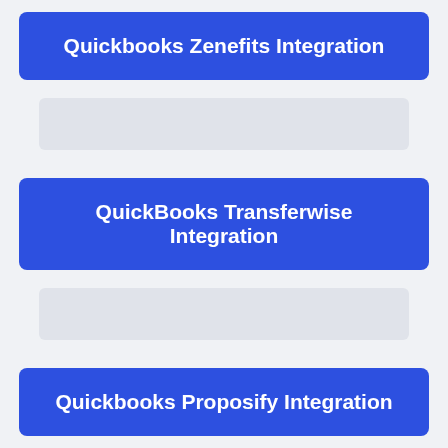Quickbooks Zenefits Integration
[Figure (other): Faded placeholder bar below Zenefits Integration button]
QuickBooks Transferwise Integration
[Figure (other): Faded placeholder bar below Transferwise Integration button]
Quickbooks Proposify Integration